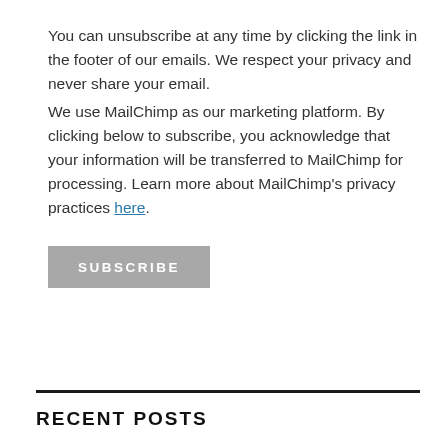You can unsubscribe at any time by clicking the link in the footer of our emails. We respect your privacy and never share your email.
We use MailChimp as our marketing platform. By clicking below to subscribe, you acknowledge that your information will be transferred to MailChimp for processing. Learn more about MailChimp's privacy practices here.
SUBSCRIBE
RECENT POSTS